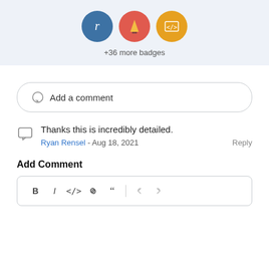[Figure (illustration): Three circular badge icons (blue with cursive R, red with flame/mountain, orange with code brackets) and text '+36 more badges' below]
+36 more badges
Add a comment
Thanks this is incredibly detailed.
Ryan Rensel - Aug 18, 2021   Reply
Add Comment
[Figure (screenshot): Text editor toolbar with Bold, Italic, Code, Link, Quote, Undo, Redo buttons]